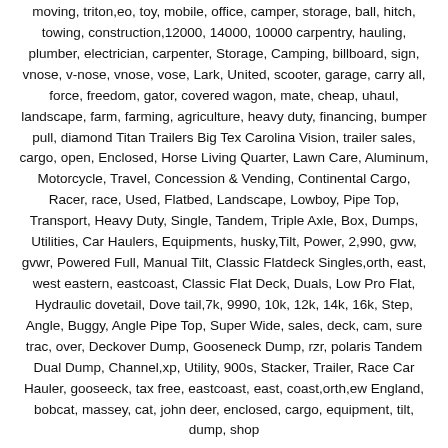moving, triton,eo, toy, mobile, office, camper, storage, ball, hitch, towing, construction,12000, 14000, 10000 carpentry, hauling, plumber, electrician, carpenter, Storage, Camping, billboard, sign, vnose, v-nose, vnose, vose, Lark, United, scooter, garage, carry all, force, freedom, gator, covered wagon, mate, cheap, uhaul, landscape, farm, farming, agriculture, heavy duty, financing, bumper pull, diamond Titan Trailers Big Tex Carolina Vision, trailer sales, cargo, open, Enclosed, Horse Living Quarter, Lawn Care, Aluminum, Motorcycle, Travel, Concession & Vending, Continental Cargo, Racer, race, Used, Flatbed, Landscape, Lowboy, Pipe Top, Transport, Heavy Duty, Single, Tandem, Triple Axle, Box, Dumps, Utilities, Car Haulers, Equipments, husky,Tilt, Power, 2,990, gvw, gvwr, Powered Full, Manual Tilt, Classic Flatdeck Singles,orth, east, west eastern, eastcoast, Classic Flat Deck, Duals, Low Pro Flat, Hydraulic dovetail, Dove tail,7k, 9990, 10k, 12k, 14k, 16k, Step, Angle, Buggy, Angle Pipe Top, Super Wide, sales, deck, cam, sure trac, over, Deckover Dump, Gooseneck Dump, rzr, polaris Tandem Dual Dump, Channel,xp, Utility, 900s, Stacker, Trailer, Race Car Hauler, gooseeck, tax free, eastcoast, east, coast,orth,ew England, bobcat, massey, cat, john deer, enclosed, cargo, equipment, tilt, dump, shop
ITEM LOCATION
Hawkes Motorsports & Trailer Sales